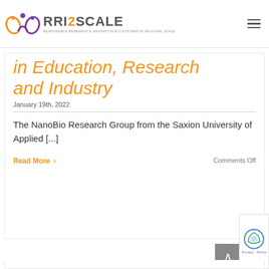RRI2SCALE — Responsible Research & Innovation Ecosystems at Regional Scale
in Education, Research and Industry
January 19th, 2022
The NanoBio Research Group from the Saxion University of Applied [...]
Read More >
Comments Off